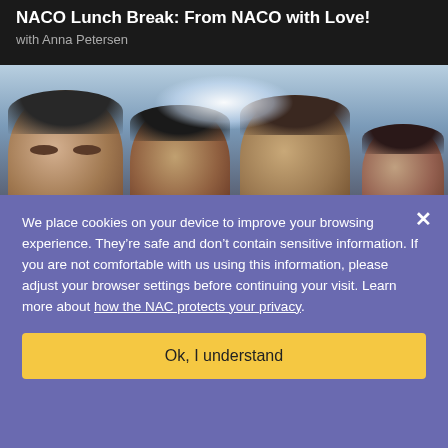NACO Lunch Break: From NACO with Love!
with Anna Petersen
[Figure (photo): Group photo of four people's faces partially visible, with a bright light/glow in the background]
We place cookies on your device to improve your browsing experience. They’re safe and don’t contain sensitive information. If you are not comfortable with us using this information, please adjust your browser settings before continuing your visit. Learn more about how the NAC protects your privacy.
Ok, I understand